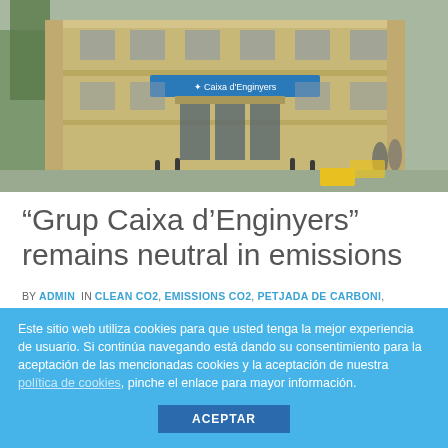[Figure (photo): Exterior photo of a Caixa d'Enginyers bank branch building, a classical yellow/beige masonry structure with a blue sign reading 'Caixa d'Enginyers' above the entrance. Street scene with trees and bollards visible.]
“Grup Caixa d’Enginyers” remains neutral in emissions
BY ADMIN IN CLEAN CO2, EMISSIONS CO2, PETJADA DE CARBONI, SOSTENIBILITAT TAGS COMPANY, CORPORATE EMISSIONS
“Grup Caixa d’Enginyers” is a carbon neutral
Este sitio web utiliza cookies para que usted tenga la mejor experiencia de usuario. Si continúa navegando está dando su consentimiento para la aceptación de las mencionadas cookies y la aceptación de nuestra política de cookies, pinche el enlace para mayor información.
ACEPTAR